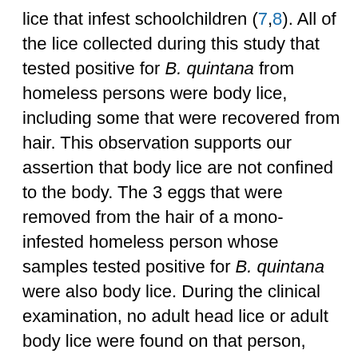lice that infest schoolchildren (7,8). All of the lice collected during this study that tested positive for B. quintana from homeless persons were body lice, including some that were recovered from hair. This observation supports our assertion that body lice are not confined to the body. The 3 eggs that were removed from the hair of a mono-infested homeless person whose samples tested positive for B. quintana were also body lice. During the clinical examination, no adult head lice or adult body lice were found on that person, confirming that the patient had been heavily infested with body lice in the past, not head lice. The nits were most likely laid by body lice that migrated toward the patient's head. When a member of this research team (DR) collected the eggs from the hair shaft, they were found ≈3–3.5 cm from the hair follicle. Because hair grows ≈1.25 cm per month, the louse infestation occurred ≈3 months before egg collection.